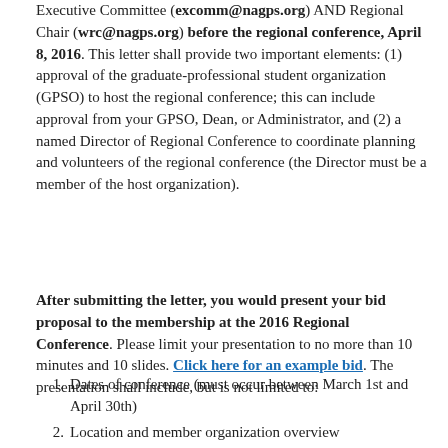Executive Committee (excomm@nagps.org) AND Regional Chair (wrc@nagps.org) before the regional conference, April 8, 2016. This letter shall provide two important elements: (1) approval of the graduate-professional student organization (GPSO) to host the regional conference; this can include approval from your GPSO, Dean, or Administrator, and (2) a named Director of Regional Conference to coordinate planning and volunteers of the regional conference (the Director must be a member of the host organization).
After submitting the letter, you would present your bid proposal to the membership at the 2016 Regional Conference. Please limit your presentation to no more than 10 minutes and 10 slides. Click here for an example bid. The presentation shall include, but is not limited to:
Dates of conference (must occur between March 1st and April 30th)
Location and member organization overview